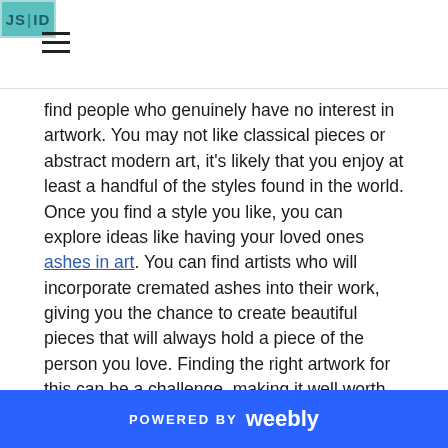JS|ID
find people who genuinely have no interest in artwork. You may not like classical pieces or abstract modern art, it's likely that you enjoy at least a handful of the styles found in the world. Once you find a style you like, you can explore ideas like having your loved ones ashes in art. You can find artists who will incorporate cremated ashes into their work, giving you the chance to create beautiful pieces that will always hold a piece of the person you love. Finding the right artwork for this can be a challenge, making it well worth taking the time to research the options available to find something that you love.
Ornaments & Little Touches
When an adult passes away, they tend to leave a lot of their possessions to the people they love. This means that you are
POWERED BY weebly